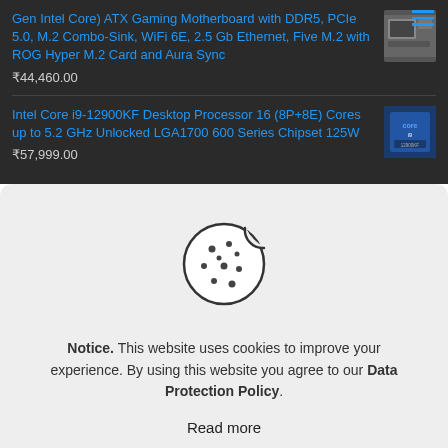Gen Intel Core) ATX Gaming Motherboard with DDR5, PCIe 5.0, M.2 Combo-Sink, WiFi 6E, 2.5 Gb Ethernet, Five M.2 with ROG Hyper M.2 Card and Aura Sync
₹44,460.00
Intel Core i9-12900KF Desktop Processor 16 (8P+8E) Cores up to 5.2 GHz Unlocked LGA1700 600 Series Chipset 125W
₹57,999.00
[Figure (illustration): Cookie icon — a round cookie with a bite taken out, dark outline, dots representing chocolate chips]
Notice. This website uses cookies to improve your experience. By using this website you agree to our Data Protection Policy.
Read more
Accept all